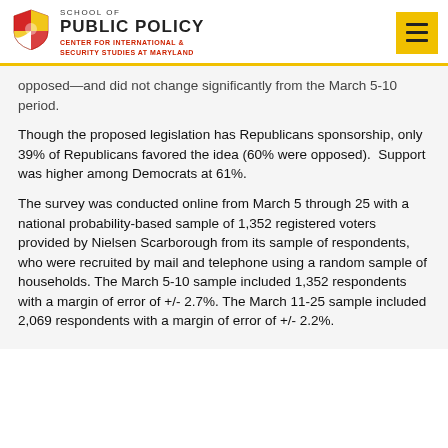SCHOOL OF PUBLIC POLICY — CENTER FOR INTERNATIONAL & SECURITY STUDIES AT MARYLAND
opposed—and did not change significantly from the March 5-10 period.
Though the proposed legislation has Republicans sponsorship, only 39% of Republicans favored the idea (60% were opposed).  Support was higher among Democrats at 61%.
The survey was conducted online from March 5 through 25 with a national probability-based sample of 1,352 registered voters provided by Nielsen Scarborough from its sample of respondents, who were recruited by mail and telephone using a random sample of households. The March 5-10 sample included 1,352 respondents with a margin of error of +/- 2.7%. The March 11-25 sample included 2,069 respondents with a margin of error of +/- 2.2%.